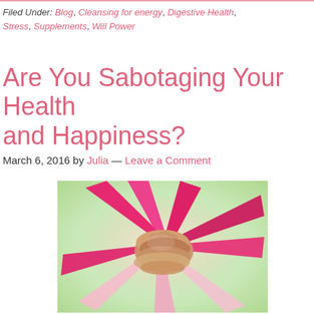Filed Under: Blog, Cleansing for energy, Digestive Health, Stress, Supplements, Will Power
Are You Sabotaging Your Health and Happiness?
March 6, 2016 by Julia — Leave a Comment
[Figure (photo): Group of people wearing pink shirts stacking their hands together in a circle, viewed from above, on a light green blurred background.]